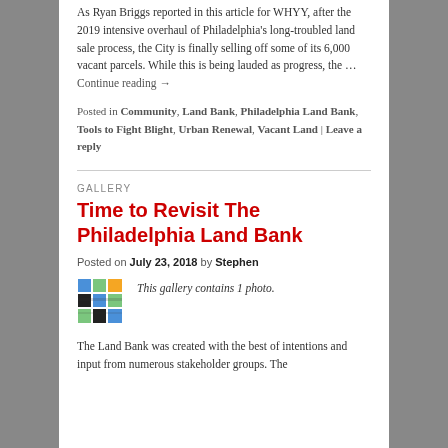As Ryan Briggs reported in this article for WHYY, after the 2019 intensive overhaul of Philadelphia's long-troubled land sale process, the City is finally selling off some of its 6,000 vacant parcels. While this is being lauded as progress, the … Continue reading →
Posted in Community, Land Bank, Philadelphia Land Bank, Tools to Fight Blight, Urban Renewal, Vacant Land | Leave a reply
GALLERY
Time to Revisit The Philadelphia Land Bank
Posted on July 23, 2018 by Stephen
[Figure (illustration): Small colorful grid/mosaic thumbnail image used as gallery preview]
This gallery contains 1 photo.
The Land Bank was created with the best of intentions and input from numerous stakeholder groups. The